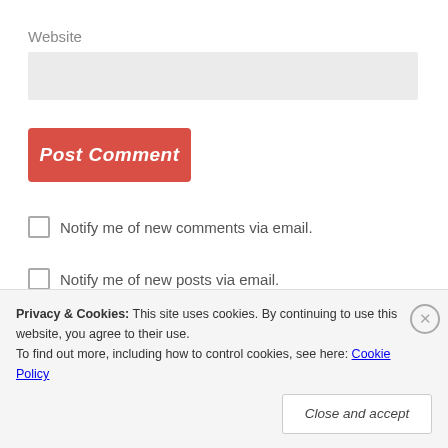Website
Post Comment
Notify me of new comments via email.
Notify me of new posts via email.
Funk N Fiction Socials
Privacy & Cookies: This site uses cookies. By continuing to use this website, you agree to their use.
To find out more, including how to control cookies, see here: Cookie Policy
Close and accept